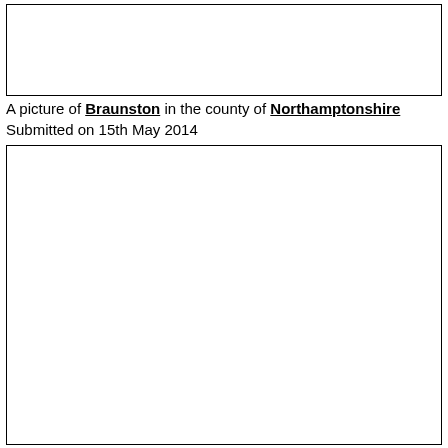[Figure (photo): Empty white box representing a picture placeholder (top)]
A picture of Braunston in the county of Northamptonshire
Submitted on 15th May 2014
[Figure (photo): Empty white box representing a picture placeholder (bottom)]